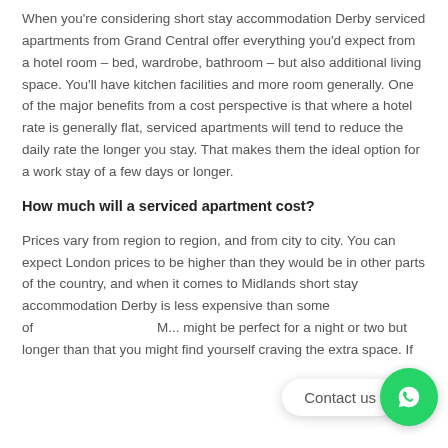When you're considering short stay accommodation Derby serviced apartments from Grand Central offer everything you'd expect from a hotel room – bed, wardrobe, bathroom – but also additional living space. You'll have kitchen facilities and more room generally. One of the major benefits from a cost perspective is that where a hotel rate is generally flat, serviced apartments will tend to reduce the daily rate the longer you stay. That makes them the ideal option for a work stay of a few days or longer.
How much will a serviced apartment cost?
Prices vary from region to region, and from city to city. You can expect London prices to be higher than they would be in other parts of the country, and when it comes to Midlands short stay accommodation Derby is less expensive than some of... might be perfect for a night or two but longer than that you might find yourself craving the extra space. If